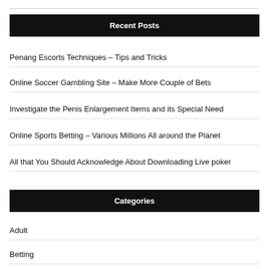Recent Posts
Penang Escorts Techniques – Tips and Tricks
Online Soccer Gambling Site – Make More Couple of Bets
Investigate the Penis Enlargement Items and its Special Need
Online Sports Betting – Various Millions All around the Planet
All that You Should Acknowledge About Downloading Live poker
Categories
Adult
Betting